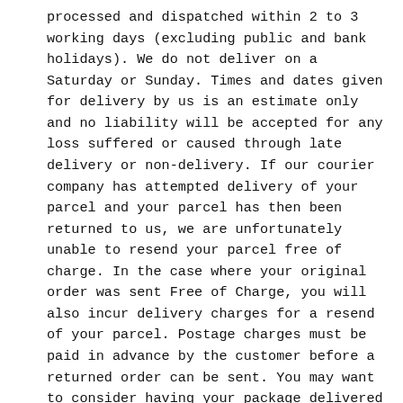processed and dispatched within 2 to 3 working days (excluding public and bank holidays). We do not deliver on a Saturday or Sunday. Times and dates given for delivery by us is an estimate only and no liability will be accepted for any loss suffered or caused through late delivery or non-delivery. If our courier company has attempted delivery of your parcel and your parcel has then been returned to us, we are unfortunately unable to resend your parcel free of charge. In the case where your original order was sent Free of Charge, you will also incur delivery charges for a resend of your parcel. Postage charges must be paid in advance by the customer before a returned order can be sent. You may want to consider having your package delivered to your workplace if there is a chance you won't be at the delivery address during designated delivery times.